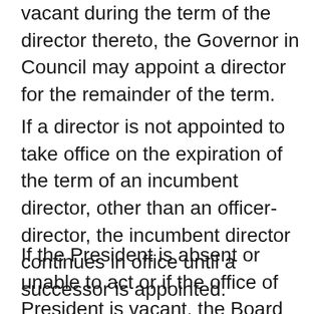vacant during the term of the director thereto, the Governor in Council may appoint a director for the remainder of the term.
If a director is not appointed to take office on the expiration of the term of an incumbent director, other than an officer-director, the incumbent director continues in office until a successor is appointed.
If the President is absent or unable to act or if the office of President is vacant, the Board may designate another director or an officer of the Corporation to act as the President for the time being, but no director or officer so